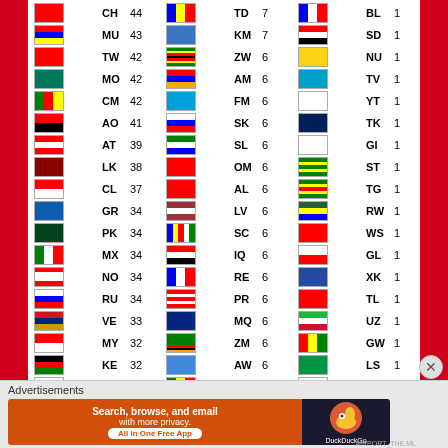| Flag | Code | Count | Flag | Code | Count | Flag | Code | Count |
| --- | --- | --- | --- | --- | --- | --- | --- | --- |
| CH | 44 | TD | 7 | BL | 1 |
| MU | 43 | KM | 7 | SD | 1 |
| TW | 42 | ZW | 6 | NU | 1 |
| MO | 42 | AM | 6 | TV | 1 |
| CM | 42 | FM | 6 | YT | 1 |
| AO | 41 | SK | 6 | TK | 1 |
| AT | 39 | SL | 6 | GI | 1 |
| LK | 38 | OM | 6 | ST | 1 |
| CL | 37 | AL | 6 | TG | 1 |
| GR | 34 | LV | 6 | RW | 1 |
| PK | 34 | SC | 6 | WS | 1 |
| MX | 34 | IQ | 6 | GL | 1 |
| NO | 34 | RE | 6 | XK | 1 |
| RU | 34 | PR | 6 | TL | 1 |
| VE | 33 | MQ | 6 | UZ | 1 |
| MY | 32 | ZM | 6 | GW | 1 |
| KE | 32 | AW | 6 | LS | 1 |
| BQ | 29 | BJ | 6 | PA | 1 |
| UA | 28 | HR | 5 | CW | 1 |
| MV | 28 | JE | 5 |  |  |
| MG | 28 | MS | 5 |  |  |
Advertisements
[Figure (infographic): DuckDuckGo advertisement banner: 'Search, browse, and email with more privacy. All in One Free App' with DuckDuckGo logo on dark background.]